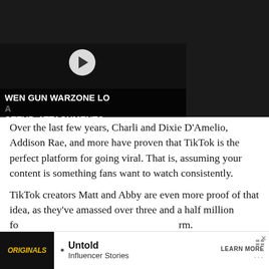[Figure (screenshot): Video thumbnail with dark background showing gaming content. White play button in center. Text overlay reads 'WEN GUN WARZONE LO... SETUP, ATTACHMENTS,']
Over the last few years, Charli and Dixie D'Amelio, Addison Rae, and more have proven that TikTok is the perfect platform for going viral. That is, assuming your content is something fans want to watch consistently.
TikTok creators Matt and Abby are even more proof of that idea, as they've amassed over three and a half million followers on the short-form video platform.
But w...
[Figure (advertisement): Ad bar at bottom: Originals logo on left, bullet point, 'Untold Influencer Stories', 'LEARN MORE' button with dots icon, X close button]